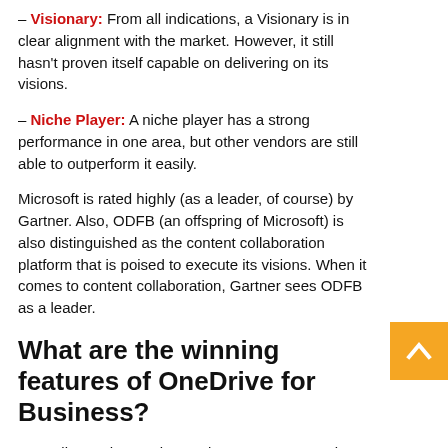– Visionary: From all indications, a Visionary is in clear alignment with the market. However, it still hasn't proven itself capable on delivering on its visions.
– Niche Player: A niche player has a strong performance in one area, but other vendors are still able to outperform it easily.
Microsoft is rated highly (as a leader, of course) by Gartner. Also, ODFB (an offspring of Microsoft) is also distinguished as the content collaboration platform that is poised to execute its visions. When it comes to content collaboration, Gartner sees ODFB as a leader.
What are the winning features of OneDrive for Business?
According to the Magic Quadrant report, ODFB is the leading content sharing and collaboration platform in the following criteria: